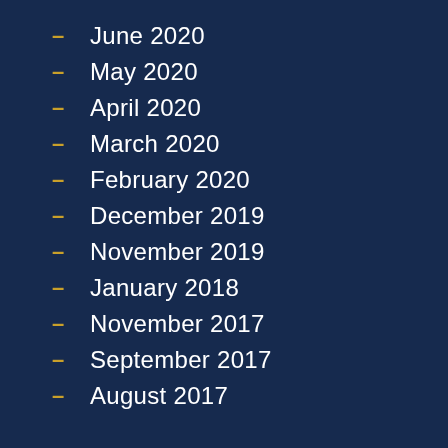June 2020
May 2020
April 2020
March 2020
February 2020
December 2019
November 2019
January 2018
November 2017
September 2017
August 2017